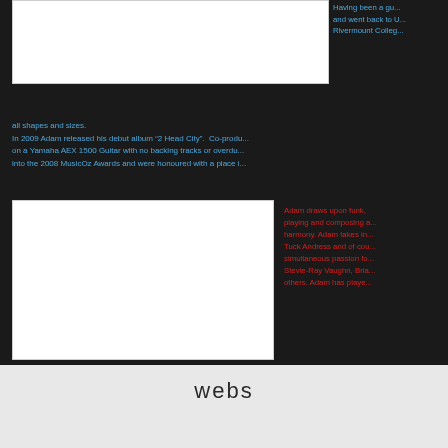[Figure (photo): White rectangular image placeholder at top left on dark background]
Having been a gu... and went back to U... Rivermount Colleg...
all shapes and sizes.
In 2009 Adam released his debut album “2 Head City”.  Co-produ... on a Yamaha AEX 1500 Guitar with no backing tracks or overdu... into the 2008 MusicOz Awards and were honoured with a place i...
[Figure (photo): White rectangular image placeholder at bottom left on dark background]
Adam draws upon funk, ... playing and composing a... harmony. Adam takes in... Tuck Andress and of cou... simultaneous passion fo... Stevie-Ray Vaughn, Bria... others. Adam has playe...
webs